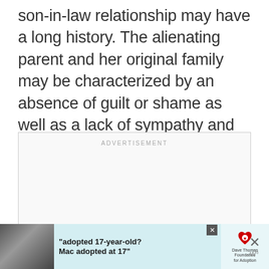son-in-law relationship may have a long history. The alienating parent and her original family may be characterized by an absence of guilt or shame as well as a lack of sympathy and empathy.
[Figure (other): Advertisement placeholder box with 'ADVERTISEMENT' label at top center, empty content area below]
[Figure (other): Bottom banner advertisement featuring a photo of a young woman, text about adoption ('adopted 17-year-old? Mac adopted at 17'), Dave Thomas Foundation for Adoption logo, a close button, and a W logo]